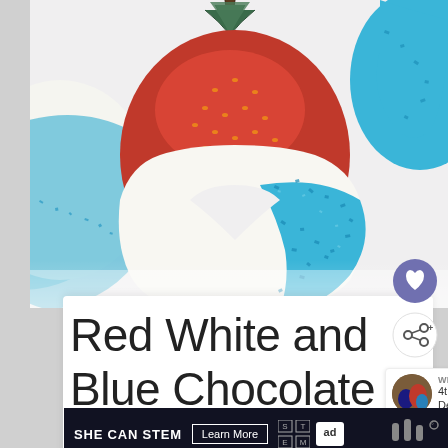[Figure (photo): Close-up photo of strawberries dipped in white chocolate and decorated with blue sugar sprinkles, with a patriotic red-white-and-blue theme. The strawberries show red fruit tops, white chocolate coating, and vibrant blue crystallized sugar on the bottom half.]
Red White and Blue Chocolate
[Figure (infographic): Heart/favorite button (purple circle with white heart icon) and share button (white circle with share icon)]
WHAT'S NEXT → 4th of July Desserts Th...
[Figure (photo): Small circular thumbnail of 4th of July desserts]
[Figure (infographic): SHE CAN STEM advertisement banner with dark background, white text 'SHE CAN STEM', 'Learn More' button, STEM logo grid, and Ad Council logo]